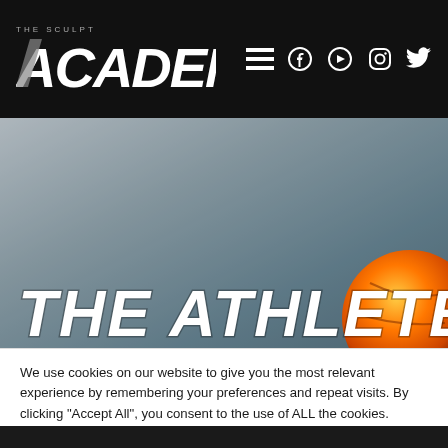THE SCULPT ACADEMY
[Figure (photo): Hero image with blueish-grey background and an orange/basketball object in the bottom right corner, with bold white italic text 'THE ATHLETE' overlaid at the bottom left]
We use cookies on our website to give you the most relevant experience by remembering your preferences and repeat visits. By clicking "Accept All", you consent to the use of ALL the cookies. However, you may visit "Cookie Settings" to provide a controlled consent.
Cookie Settings | Accept All